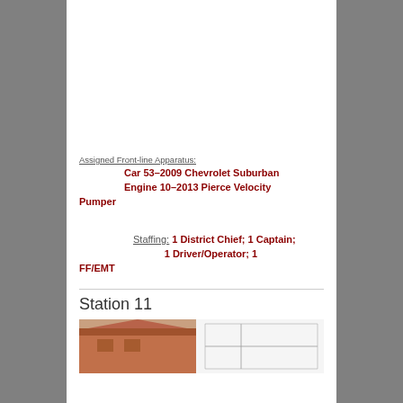Assigned Front-line Apparatus:
Car 53–2009 Chevrolet Suburban
Engine 10–2013 Pierce Velocity Pumper
Staffing: 1 District Chief; 1 Captain; 1 Driver/Operator; 1 FF/EMT
Station 11
[Figure (photo): Partial photo of fire station building with red brick roof and line drawing overlay]